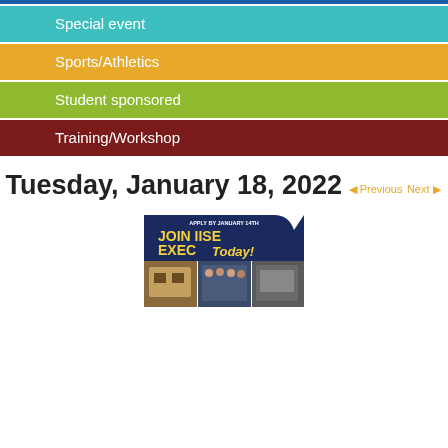Special event
Sports/Athletics
Student sponsored
Training/Workshop
Tuesday, January 18, 2022
[Figure (photo): Promotional banner reading 'JOIN IISE EXEC TODAY!' with application deadline note 'Apply by January 14th' and photos of campus buildings and students]